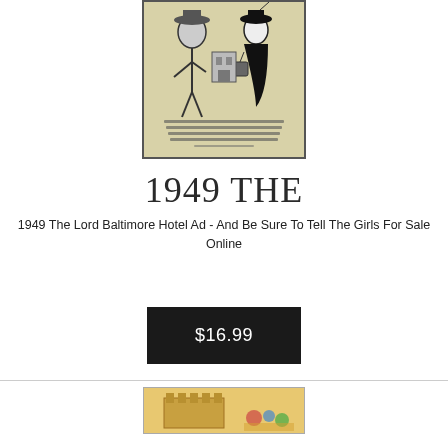[Figure (photo): Vintage 1949 Lord Baltimore Hotel advertisement scan showing illustrated cartoon figures and handwritten-style text]
1949 THE
1949 The Lord Baltimore Hotel Ad - And Be Sure To Tell The Girls For Sale Online
$16.99
[Figure (photo): Partial view of another vintage product image at the bottom of the page]